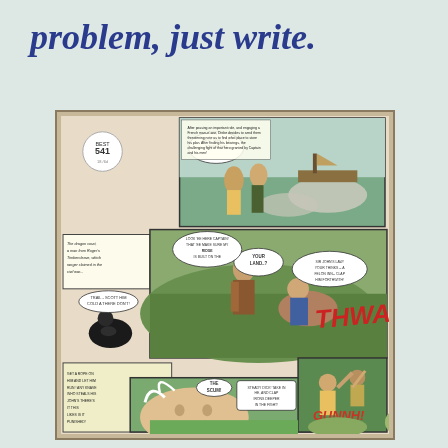problem, just write.
[Figure (illustration): A scanned comic book page artwork showing a historical adventure comic strip with multiple panels. Panels depict soldiers on horseback, confrontational scenes between armed men in period costume, speech bubbles with text including 'YOUR LAND..?', 'THWAM!', 'SIR JOHN'S LAW! YOUR THINKS -- A FELON INN-- CLAP HIM FORTHWITH!', 'SCUM!', 'GUNNH!'. A price sticker reads 'BUY 541'. The artwork appears to be original painted comic art.]